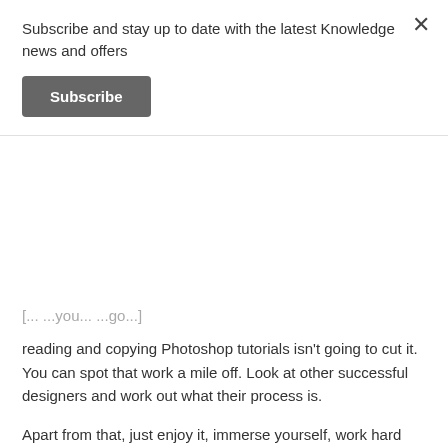Subscribe and stay up to date with the latest Knowledge news and offers
Subscribe
reading and copying Photoshop tutorials isn't going to cut it. You can spot that work a mile off. Look at other successful designers and work out what their process is.
Apart from that, just enjoy it, immerse yourself, work hard and get your work out to as many places as possible. It's probably like anything really, put the effort in, feed the passion and you'll make it.
Also set up a Behance account, get a Facebook page, link with as many other designers as you can and send your work to everyone. Whatever happens, do not give up! Not giving up is what will ensure your success, it might take year or three but when you're ready you'll get noticed. Take every opportunity as